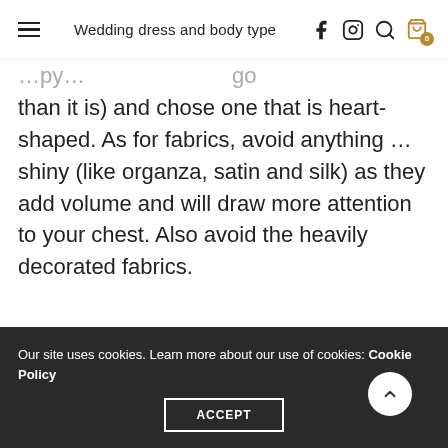Wedding dress and body type
than it is) and chose one that is heart-shaped. As for fabrics, avoid anything ... shiny (like organza, satin and silk) as they add volume and will draw more attention to your chest. Also avoid the heavily decorated fabrics.
Our site uses cookies. Learn more about our use of cookies: Cookie Policy ACCEPT